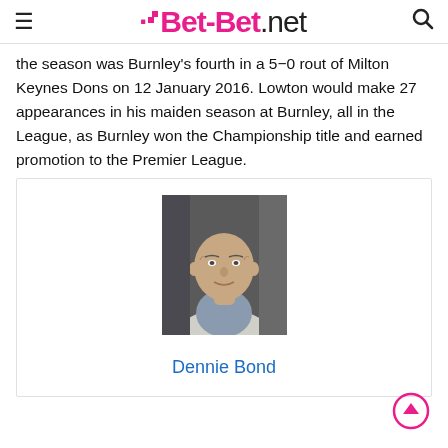Bet-Bet.net
the season was Burnley’s fourth in a 5–0 rout of Milton Keynes Dons on 12 January 2016. Lowton would make 27 appearances in his maiden season at Burnley, all in the League, as Burnley won the Championship title and earned promotion to the Premier League.
[Figure (photo): Headshot photo of a bald middle-aged man in a white jacket]
Dennie Bond